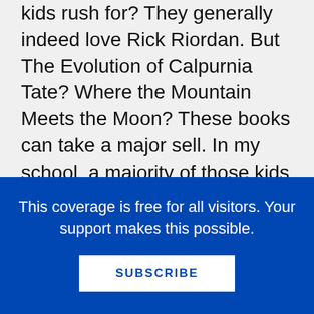kids rush for? They generally indeed love Rick Riordan. But The Evolution of Calpurnia Tate? Where the Mountain Meets the Moon? These books can take a major sell. In my school, a majority of those kids are either unimpressed or bored by those book; conversely, a minority of them love the books and connect deeply with them. We could literally make that argument for every book published in a given year. I can't *imagine* a Rick Riordan or James Patterson book making it to the final
This coverage is free for all visitors. Your support makes this possible.
SUBSCRIBE